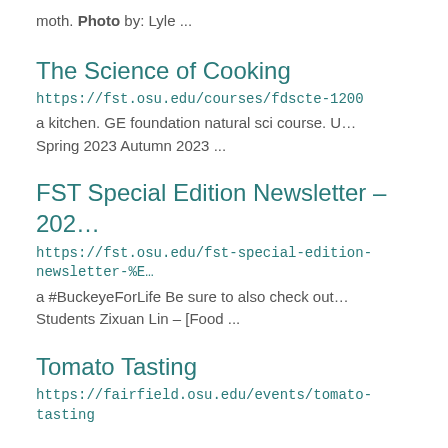moth. Photo by: Lyle ...
The Science of Cooking
https://fst.osu.edu/courses/fdscte-1200
a kitchen. GE foundation natural sci course. U… Spring 2023 Autumn 2023 ...
FST Special Edition Newsletter – 202…
https://fst.osu.edu/fst-special-edition-newsletter-%E…
a #BuckeyeForLife Be sure to also check out… Students Zixuan Lin – [Food ...
Tomato Tasting
https://fairfield.osu.edu/events/tomato-tasting